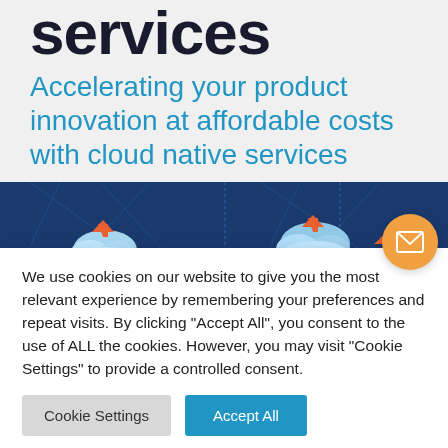services
Accelerating your product innovation at affordable costs with cloud native services
[Figure (illustration): Dark blue banner image showing cloud computing icons with orange arrows and geometric lines, depicting cloud native services concept. Two cloud illustrations visible side by side.]
We use cookies on our website to give you the most relevant experience by remembering your preferences and repeat visits. By clicking "Accept All", you consent to the use of ALL the cookies. However, you may visit "Cookie Settings" to provide a controlled consent.